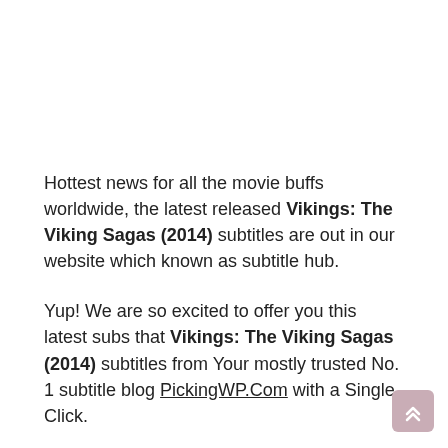Hottest news for all the movie buffs worldwide, the latest released Vikings: The Viking Sagas (2014) subtitles are out in our website which known as subtitle hub.
Yup! We are so excited to offer you this latest subs that Vikings: The Viking Sagas (2014) subtitles from Your mostly trusted No. 1 subtitle blog PickingWP.Com with a Single Click.